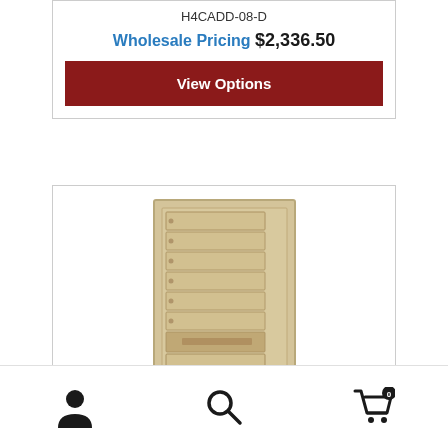H4CADD-08-D
Wholesale Pricing $2,336.50
View Options
[Figure (photo): Tall multi-tenant mailbox unit in sandstone/beige color with multiple small mailbox doors stacked vertically and one larger parcel compartment in the middle]
[Figure (other): Bottom navigation bar with user account icon, search icon, and shopping cart icon showing 0 items]